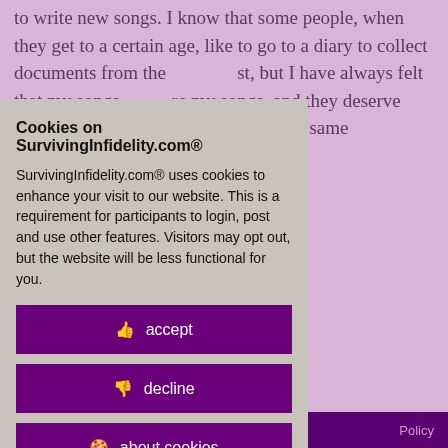to write new songs. I know that some people, when they get to a certain age, like to go to a diary to collect documents from the past, but I have always felt that my songs are my songs, and they deserve much the same and span my entire
paralleled s life and art all stages of l compositions Beatles, to esent. Arranged opic rather ishes r the first time
Cookies on SurvivingInfidelity.com®
SurvivingInfidelity.com® uses cookies to enhance your visit to our website. This is a requirement for participants to login, post and use other features. Visitors may opt out, but the website will be less functional for you.
accept
decline
about cookies
Policy